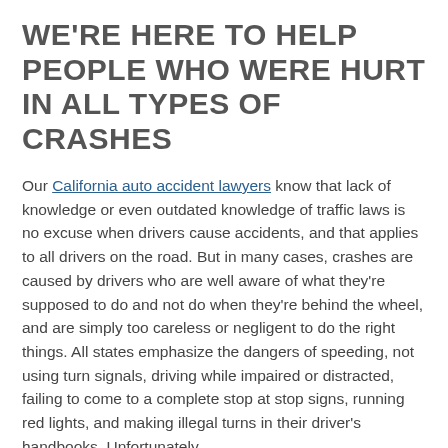WE'RE HERE TO HELP PEOPLE WHO WERE HURT IN ALL TYPES OF CRASHES
Our California auto accident lawyers know that lack of knowledge or even outdated knowledge of traffic laws is no excuse when drivers cause accidents, and that applies to all drivers on the road. But in many cases, crashes are caused by drivers who are well aware of what they're supposed to do and not do when they're behind the wheel, and are simply too careless or negligent to do the right things. All states emphasize the dangers of speeding, not using turn signals, driving while impaired or distracted, failing to come to a complete stop at stop signs, running red lights, and making illegal turns in their driver's handbooks. Unfortunately